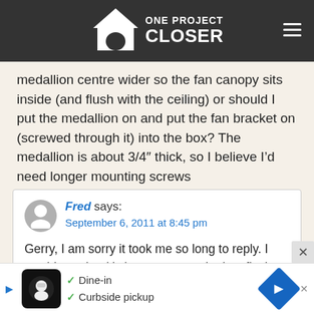ONE PROJECT CLOSER
medallion centre wider so the fan canopy sits inside (and flush with the ceiling) or should I put the medallion on and put the fan bracket on (screwed through it) into the box? The medallion is about 3/4” thick, so I believe I’d need longer mounting screws
Fred says:
September 6, 2011 at 8:45 pm

Gerry, I am sorry it took me so long to reply. I would say that it’s best to mount the box flush with the medallion and have the fan sit on top of it. Otherwise, it will... and with... one
[Figure (screenshot): Advertisement overlay showing dining restaurant ad with checkmarks for Dine-in and Curbside pickup, a cartoon chef icon, and a blue direction arrow icon, with a close X button]